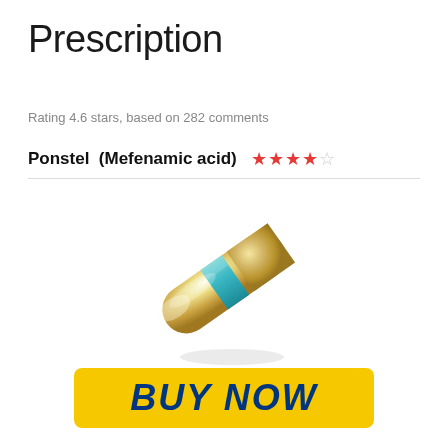Prescription
Rating 4.6 stars, based on 282 comments
Ponstel  (Mefenamic acid)  ★★★★☆
[Figure (photo): A golden/beige capsule pill with a teal/cyan band around its middle, shown at an angle on a white background]
[Figure (other): Yellow button with dark blue bold italic text reading BUY NOW]